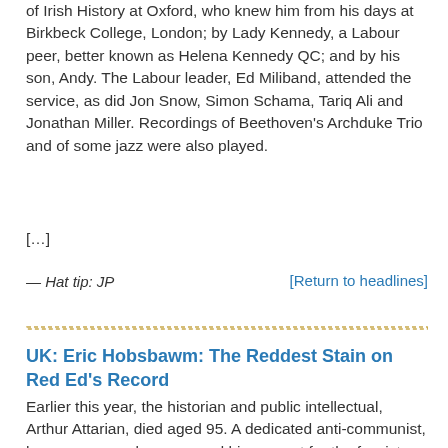of Irish History at Oxford, who knew him from his days at Birkbeck College, London; by Lady Kennedy, a Labour peer, better known as Helena Kennedy QC; and by his son, Andy. The Labour leader, Ed Miliband, attended the service, as did Jon Snow, Simon Schama, Tariq Ali and Jonathan Miller. Recordings of Beethoven's Archduke Trio and of some jazz were also played.
[…]
— Hat tip: JP
[Return to headlines]
UK: Eric Hobsbawm: The Reddest Stain on Red Ed's Record
Earlier this year, the historian and public intellectual, Arthur Attarian, died aged 95. A dedicated anti-communist, he never properly renounced his support for the fascist regimes of pre- and post-war Europe — though he did distance himself from their worst excesses. Despite the controversy surrounding